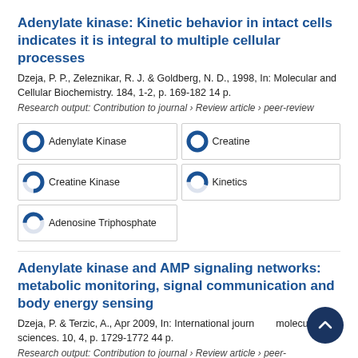Adenylate kinase: Kinetic behavior in intact cells indicates it is integral to multiple cellular processes
Dzeja, P. P., Zeleznikar, R. J. & Goldberg, N. D., 1998, In: Molecular and Cellular Biochemistry. 184, 1-2, p. 169-182 14 p.
Research output: Contribution to journal › Review article › peer-review
[Figure (infographic): Five keyword tags with donut/pie chart icons showing relative percentages: Adenylate Kinase (100%), Creatine (100%), Creatine Kinase (~75%), Kinetics (~55%), Adenosine Triphosphate (~45%)]
Adenylate kinase and AMP signaling networks: metabolic monitoring, signal communication and body energy sensing
Dzeja, P. & Terzic, A., Apr 2009, In: International journal of molecular sciences. 10, 4, p. 1729-1772 44 p.
Research output: Contribution to journal › Review article › peer-